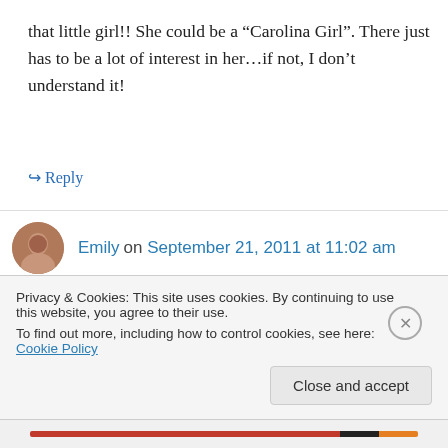that little girl!! She could be a “Carolina Girl”. There just has to be a lot of interest in her…if not, I don’t understand it!
↪ Reply
Emily on September 21, 2011 at 11:02 am
Diamond-in-the-Rough week sounds so much better – and it is such a good reminder to all that sometimes the ones that you might think are
Privacy & Cookies: This site uses cookies. By continuing to use this website, you agree to their use.
To find out more, including how to control cookies, see here: Cookie Policy
Close and accept